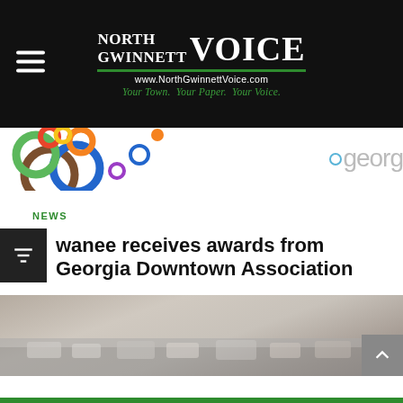NORTH GWINNETT VOICE — www.NorthGwinnettVoice.com — Your Town. Your Paper. Your Voice.
[Figure (illustration): Colorful overlapping circles/rings banner and partial 'georg' text (Georgia Downtown Association logo)]
NEWS
Suwanee receives awards from Georgia Downtown Association
[Figure (photo): Blurred photo of traffic on a road/highway]